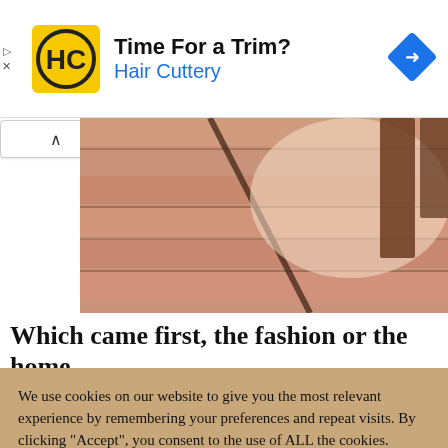[Figure (logo): Hair Cuttery ad banner with HC logo, text 'Time For a Trim?' and 'Hair Cuttery', navigation diamond icon, and play/close icons on the left]
[Figure (photo): Partial photo showing wooden deck floor with person's legs/feet walking, warm brown tones, cropped at top]
Which came first, the fashion or the home
décor fascination with the color combination
We use cookies on our website to give you the most relevant experience by remembering your preferences and repeat visits. By clicking "Accept", you consent to the use of ALL the cookies.
Do not sell my personal information.